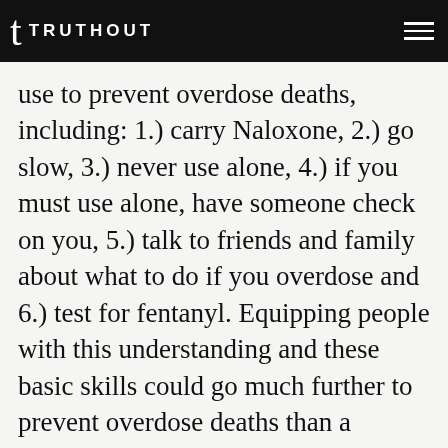TRUTHOUT
use to prevent overdose deaths, including: 1.) carry Naloxone, 2.) go slow, 3.) never use alone, 4.) if you must use alone, have someone check on you, 5.) talk to friends and family about what to do if you overdose and 6.) test for fentanyl. Equipping people with this understanding and these basic skills could go much further to prevent overdose deaths than a regulated supply alone.
There are even licensing models that have been proposed, similar to what we have seen with